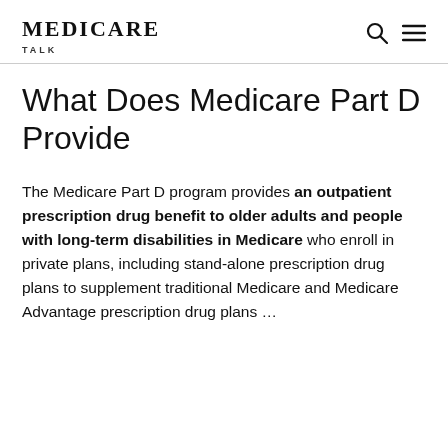MEDICARE TALK
What Does Medicare Part D Provide
The Medicare Part D program provides an outpatient prescription drug benefit to older adults and people with long-term disabilities in Medicare who enroll in private plans, including stand-alone prescription drug plans to supplement traditional Medicare and Medicare Advantage prescription drug plans …